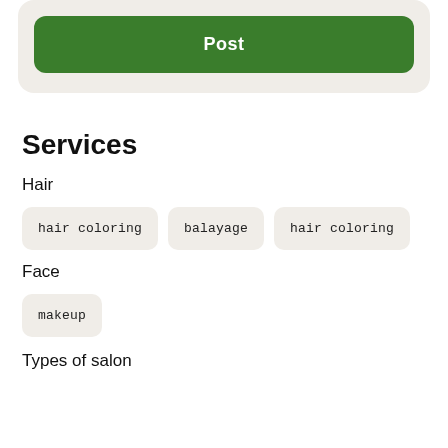[Figure (screenshot): Green Post button inside a rounded beige card at the top of a mobile UI screen]
Services
Hair
hair coloring
balayage
hair coloring
Face
makeup
Types of salon